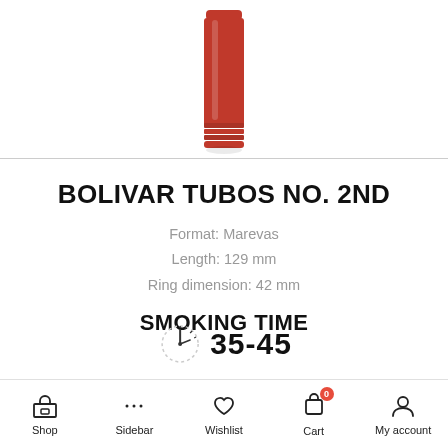[Figure (photo): Red cylindrical cigar tube (Bolivar Tubos No. 2ND), viewed from slightly above, showing the red metallic tube with ribbed bottom]
BOLIVAR TUBOS NO. 2ND
Format: Marevas
Length: 129 mm
Ring dimension: 42 mm
SMOKING TIME
[Figure (other): Partial clock/timer icon with dotted arc, next to the number 35-45]
Shop  Sidebar  Wishlist  Cart  My account